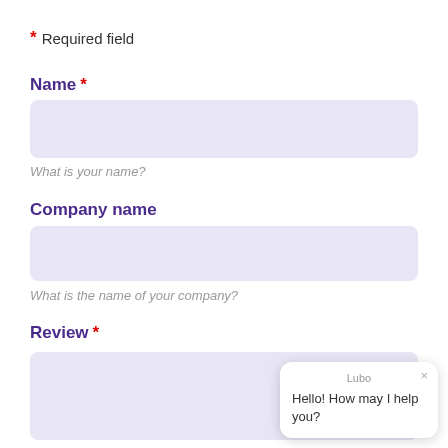* Required field
Name *
What is your name?
Company name
What is the name of your company?
Review *
[Figure (screenshot): Chat widget popup with label 'Lubo' and message 'Hello! How may I help you?']